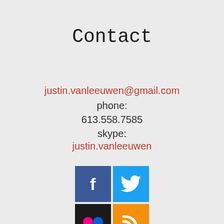Contact
justin.vanleeuwen@gmail.com
phone:
613.558.7585
skype:
justin.vanleeuwen
[Figure (illustration): Four social media icons in a 2x2 grid: Facebook (blue), Twitter (blue), Flickr (black), RSS (orange)]